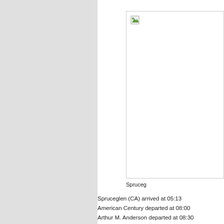[Figure (photo): A broken/missing image placeholder with a small icon in the top-left corner. The image box is white with a border.]
Spruceg
Spruceglen (CA) arrived at 05:13
American Century departed at 08:00
Arthur M. Anderson departed at 08:30
John J. Boland departed at 13:15